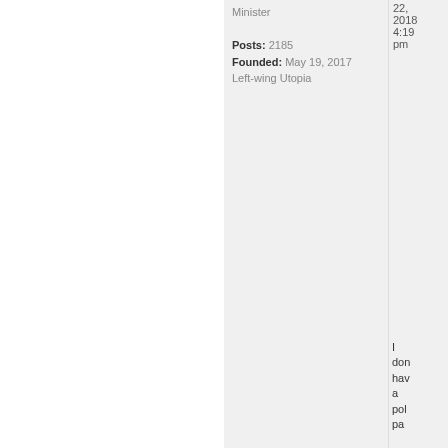Minister
Posts: 2185
Founded: May 19, 2017
Left-wing Utopia
22, 2018 4:19 pm
I don have a pol pa